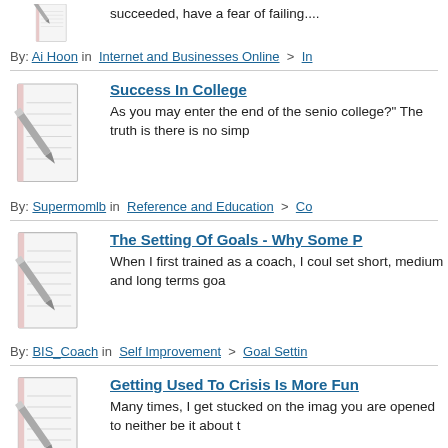[Figure (illustration): Notepad with pencil icon, partially visible at top]
succeeded, have a fear of failing....
By: Ai Hoon in  Internet and Businesses Online  >  In
[Figure (illustration): Notepad with pencil icon]
Success In College
As you may enter the end of the senio college?" The truth is there is no simp
By: Supermomlb in  Reference and Education  >  Co
[Figure (illustration): Notepad with pencil icon]
The Setting Of Goals - Why Some P
When I first trained as a coach, I coul set short, medium and long terms goa
By: BIS_Coach in  Self Improvement  >  Goal Settin
[Figure (illustration): Notepad with pencil icon]
Getting Used To Crisis Is More Fun
Many times, I get stucked on the imag you are opened to neither be it about t
By: Omosebi Isaiah oluwatosin in  Self Improvement